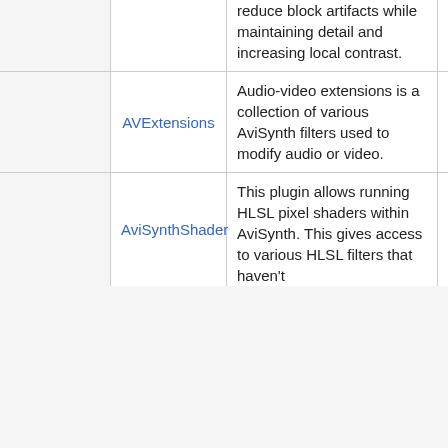| (col1) | (col2) | Description | Colorspaces | Type |
| --- | --- | --- | --- | --- |
|  |  | reduce block artifacts while maintaining detail and increasing local contrast. |  |  |
|  | AVExtensions | Audio-video extensions is a collection of various AviSynth filters used to modify audio or video. | RGB24, RGB32 | Plugin |
|  | AviSynthShader | This plugin allows running HLSL pixel shaders within AviSynth. This gives access to various HLSL filters that haven't | RGB32, YV24, YV12 | Plugin |